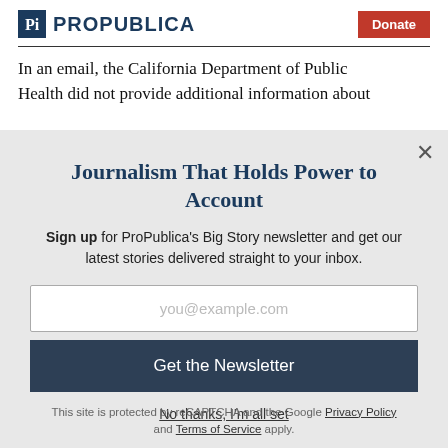ProPublica | Donate
In an email, the California Department of Public Health did not provide additional information about
Journalism That Holds Power to Account
Sign up for ProPublica's Big Story newsletter and get our latest stories delivered straight to your inbox.
you@example.com
Get the Newsletter
No thanks, I'm all set
This site is protected by reCAPTCHA and the Google Privacy Policy and Terms of Service apply.